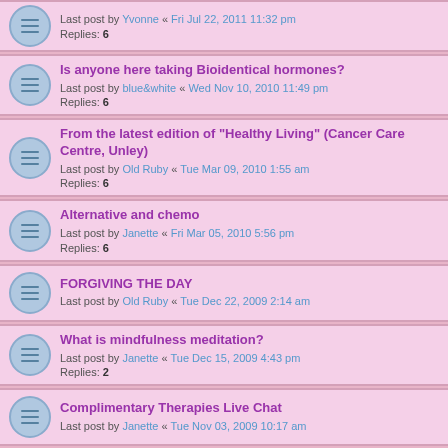Is anyone here taking Bioidentical hormones? Last post by blue&white « Wed Nov 10, 2010 11:49 pm Replies: 6
From the latest edition of "Healthy Living" (Cancer Care Centre, Unley) Last post by Old Ruby « Tue Mar 09, 2010 1:55 am Replies: 6
Alternative and chemo Last post by Janette « Fri Mar 05, 2010 5:56 pm Replies: 6
FORGIVING THE DAY Last post by Old Ruby « Tue Dec 22, 2009 2:14 am
What is mindfulness meditation? Last post by Janette « Tue Dec 15, 2009 4:43 pm Replies: 2
Complimentary Therapies Live Chat Last post by Janette « Tue Nov 03, 2009 10:17 am
Antioxidants may reduct ability of chemo/rads Last post by yowyow « Sat Oct 10, 2009 4:56 pm
Complementary and alternative cancer therapies - Cancer Council Booklet Last post by Janine « Sat Apr 25, 2009 5:34 pm
Complementary and alternative medicine: making informed decisions. Fact sheet Last post by Janine « Sat Apr 25, 2009 4:52 pm
Phase I/II trial of an extract from Grifola frondosa (Maitake